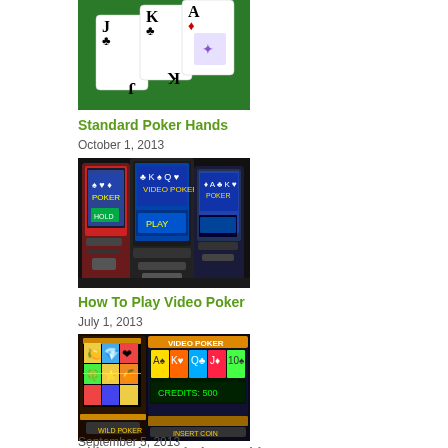[Figure (photo): Playing cards showing Jack, King, and Ace of clubs on a green felt background]
Standard Poker Hands
October 1, 2013
[Figure (photo): Row of video poker slot machines in a casino with colorful screens]
How To Play Video Poker
July 1, 2013
[Figure (photo): Close-up of slot machine reels with colorful symbols and casino lights]
Video Poker and Slot Machines
September 5, 2013